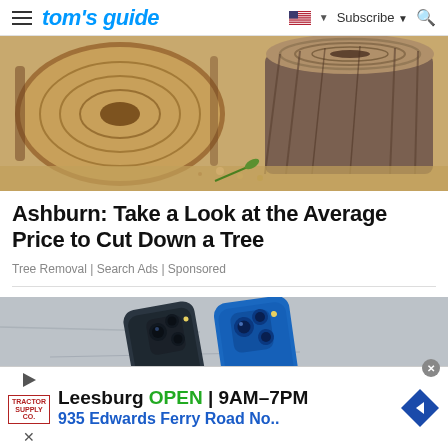tom's guide | Subscribe
[Figure (photo): A cut tree stump and a large piece of cut log on sandy/dirt ground in sunlight]
Ashburn: Take a Look at the Average Price to Cut Down a Tree
Tree Removal | Search Ads | Sponsored
[Figure (photo): Two iPhones (one graphite/dark blue, one blue) lying on a rock surface, showing rear camera systems]
Leesburg OPEN 9AM–7PM 935 Edwards Ferry Road No..